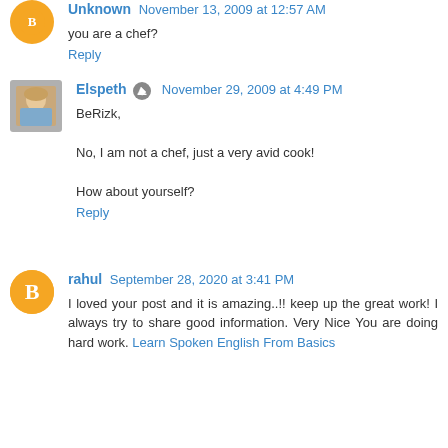Unknown November 13, 2009 at 12:57 AM
you are a chef?
Reply
Elspeth [edit] November 29, 2009 at 4:49 PM
BeRizk,

No, I am not a chef, just a very avid cook!

How about yourself?
Reply
rahul September 28, 2020 at 3:41 PM
I loved your post and it is amazing..!! keep up the great work! I always try to share good information. Very Nice You are doing hard work. Learn Spoken English From Basics